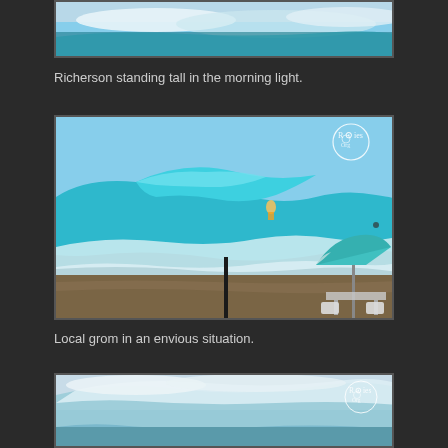[Figure (photo): Partial surf photo at top of page — wave breaking with white water]
Richerson standing tall in the morning light.
[Figure (photo): Surfer riding a large barreling wave at a beach with a teal umbrella and tables visible on the sand in the foreground. Rookies logo watermark in upper right.]
Local grom in an envious situation.
[Figure (photo): Partial surf photo at bottom of page — large wave with whitewater spray. Rookies logo watermark in upper right.]